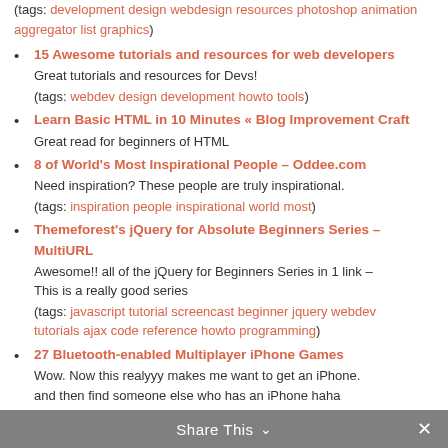(tags: development design webdesign resources photoshop animation aggregator list graphics)
15 Awesome tutorials and resources for web developers
Great tutorials and resources for Devs!
(tags: webdev design development howto tools)
Learn Basic HTML in 10 Minutes « Blog Improvement Craft
Great read for beginners of HTML
8 of World's Most Inspirational People – Oddee.com
Need inspiration? These people are truly inspirational.
(tags: inspiration people inspirational world most)
Themeforest's jQuery for Absolute Beginners Series – MultiURL
Awesome!! all of the jQuery for Beginners Series in 1 link – This is a really good series
(tags: javascript tutorial screencast beginner jquery webdev tutorials ajax code reference howto programming)
27 Bluetooth-enabled Multiplayer iPhone Games
Wow. Now this realyyy makes me want to get an iPhone. and then find someone else who has an iPhone haha
Share This ∨  ✕